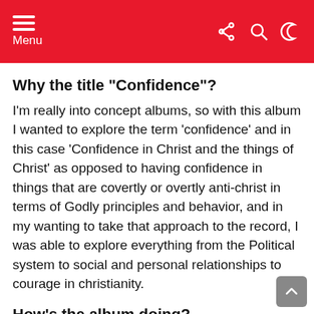Menu
Why the title "Confidence"?
I'm really into concept albums, so with this album I wanted to explore the term 'confidence' and in this case 'Confidence in Christ and the things of Christ' as opposed to having confidence in things that are covertly or overtly anti-christ in terms of Godly principles and behavior, and in my wanting to take that approach to the record, I was able to explore everything from the Political system to social and personal relationships to courage in christianity.
How's the album doing?
So far soo good, the album's doing great with room to